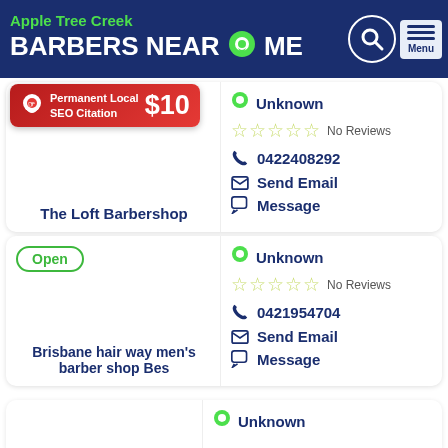Apple Tree Creek BARBERS NEAR ME
[Figure (screenshot): SEO citation banner: Permanent Local SEO Citation $10]
The Loft Barbershop — Unknown location, No Reviews, 0422408292, Send Email, Message
Open — Brisbane hair way men's barber shop Bes — Unknown location, No Reviews, 0421954704, Send Email, Message
Unknown